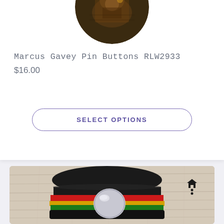[Figure (photo): Circular product image (pin button with vintage/sepia photo) partially visible at top of card]
Marcus Gavey Pin Buttons RLW2933
$16.00
SELECT OPTIONS
[Figure (photo): Product photo of a knit rasta hat (black, red, yellow/green stripes) with a large chrome pin/button on it, placed on a light wood surface. A small house/home icon is visible in the upper right of the photo.]